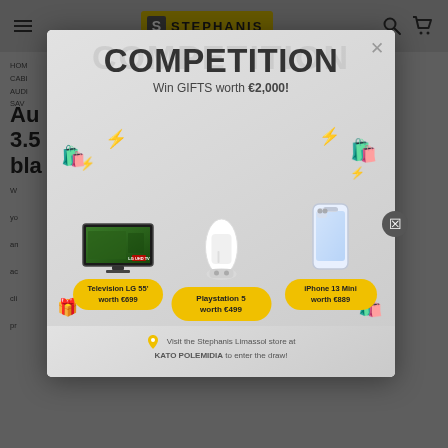[Figure (screenshot): Stephanis electronics retail website header with hamburger menu icon, Stephanis logo in yellow, search icon, and cart icon on a grey background]
HOME CABINETS AUDIO SAVINGS Au... 3.5... bla...
[Figure (infographic): Competition popup modal on Stephanis website. Headline: COMPETITION. Subtitle: Win GIFTS worth €2,000! Shows three prizes: Television LG 55' worth €699, Playstation 5 worth €499, iPhone 13 Mini worth €889. Bottom text: Visit the Stephanis Limassol store at KATO POLEMIDIA to enter the draw!]